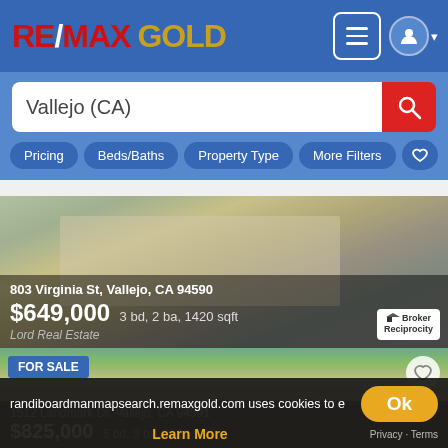[Figure (screenshot): RE/MAX GOLD website header with logo in red/gold on blue background, hamburger menu icon and user icon on right]
Vallejo (CA)
Pricing   Beds/Baths   Property Type   More Filters
[Figure (photo): House at 803 Virginia St, Vallejo, CA 94590. $649,000 3 bd, 2 ba, 1420 sqft. Lord Real Estate. Broker Reciprocity badge.]
[Figure (photo): House FOR SALE at 1512 Landmark Dr, Vallejo, CA 94591. $825,000. Front Porch Realty. Large two-story Mediterranean style home.]
randiboardmanmapsearch.remaxgold.com uses cookies to e
Learn More
Privacy · Terms